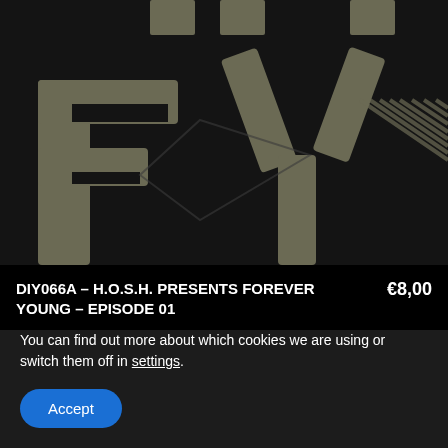[Figure (illustration): Dark album artwork showing large stylized letters 'FY' in gray/olive tones on a near-black background. Diagonal stripe patterns visible on the right side. Partial letters visible at top.]
DIY066A – H.O.S.H. PRESENTS FOREVER YOUNG – EPISODE 01
€8,00
We are using cookies to give you the best experience on our website.
You can find out more about which cookies we are using or switch them off in settings.
Accept